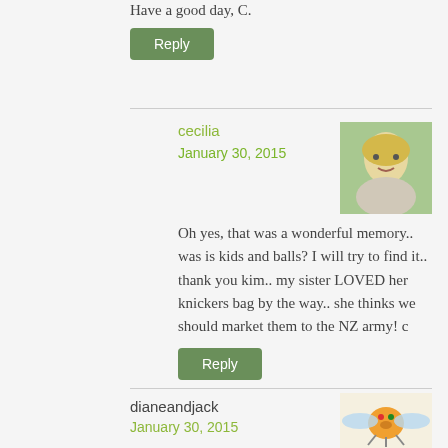Have a good day, C.
Reply
cecilia
January 30, 2015
Oh yes, that was a wonderful memory.. was is kids and balls? I will try to find it.. thank you kim.. my sister LOVED her knickers bag by the way.. she thinks we should market them to the NZ army! c
Reply
dianeandjack
January 30, 2015